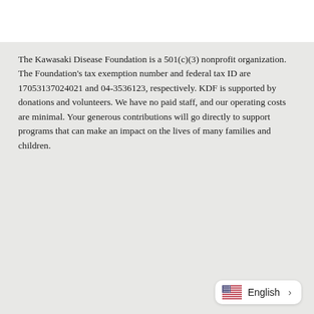The Kawasaki Disease Foundation is a 501(c)(3) nonprofit organization. The Foundation's tax exemption number and federal tax ID are 17053137024021 and 04-3536123, respectively. KDF is supported by donations and volunteers. We have no paid staff, and our operating costs are minimal. Your generous contributions will go directly to support programs that can make an impact on the lives of many families and children.